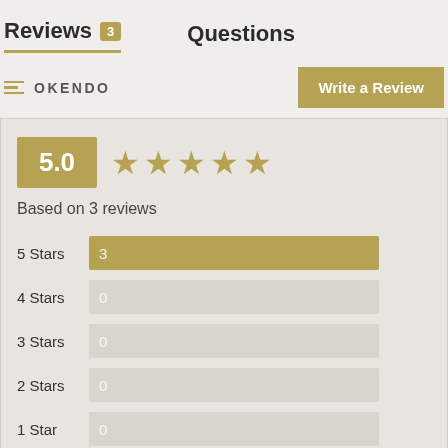Reviews 3   Questions
OKENDO
Write a Review
[Figure (bar-chart): Rating summary]
Based on 3 reviews